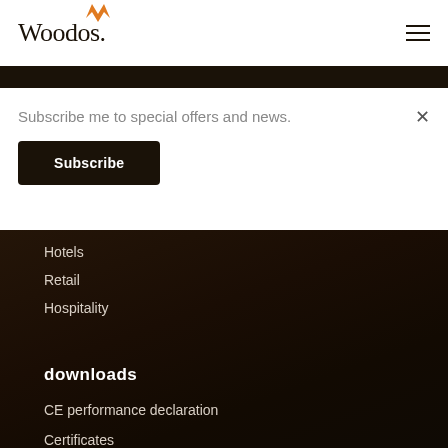Woodos.
Subscribe me to special offers and news.
Subscribe
Hotels
Retail
Hospitality
downloads
CE performance declaration
Certificates